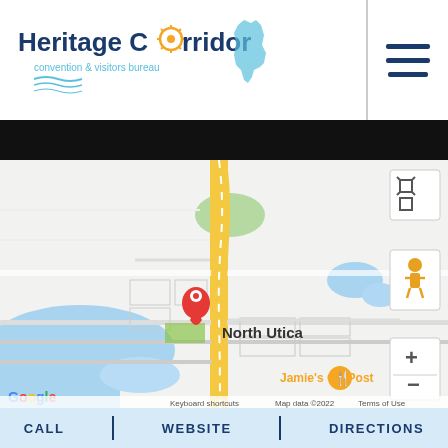Heritage Corridor convention & visitors bureau
[Figure (map): Google Maps screenshot showing North Utica, Illinois area with a red location pin, yellow road (Route), Jamie's OutPost marker, water features, and map controls including fullscreen, street view, zoom in/out buttons. Google logo and 'Map data ©2022 Terms of Use' shown at bottom.]
CALL | WEBSITE | DIRECTIONS